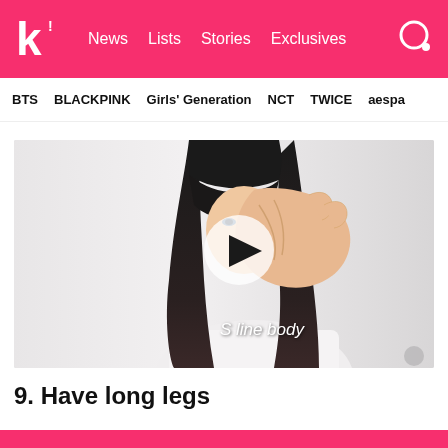k! News Lists Stories Exclusives
BTS  BLACKPINK  Girls' Generation  NCT  TWICE  aespa
[Figure (photo): Video thumbnail showing a young woman with long dark hair covering her face with one hand, wearing a white top. A semi-transparent play button circle is overlaid in the center. Text overlay reads 'S line body' in white italic text at bottom right.]
9. Have long legs